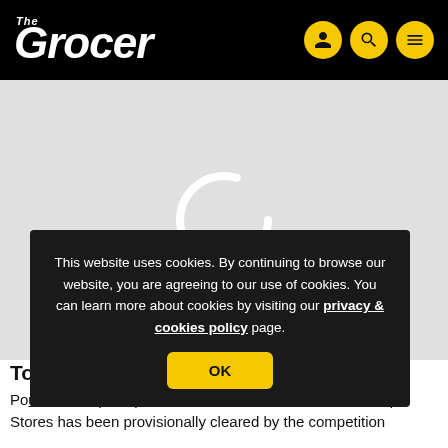The Grocer
[Figure (other): Loading spinner / circular loading indicator on a light grey background placeholder image area]
This website uses cookies. By continuing to browse our website, you are agreeing to our use of cookies. You can learn more about cookies by visiting our privacy & cookies policy page.
To
Poundland's (LIVE) £3.1m takeover of rival discounter 99p Stores has been provisionally cleared by the competition